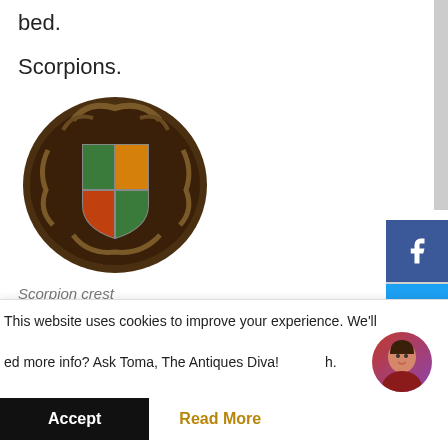bed.
Scorpions.
[Figure (photo): A scorpion family crest artifact — an oval carved plaque with a heraldic shield design featuring green and orange/red quadrants with decorative scrollwork in dark brown/bronze tones.]
Scorpion crest
The family crest was riddled on one side
This website uses cookies to improve your experience. We'll
ed more info? Ask Toma, The Antiques Diva! yo h.